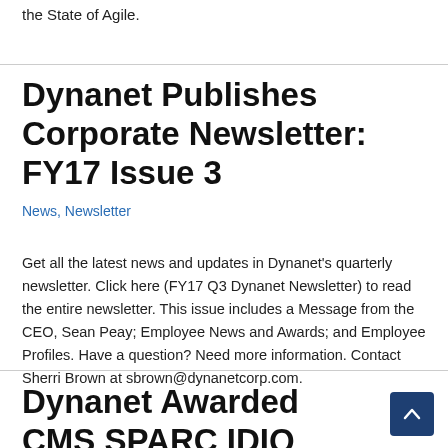the State of Agile.
Dynanet Publishes Corporate Newsletter: FY17 Issue 3
News, Newsletter
Get all the latest news and updates in Dynanet's quarterly newsletter. Click here (FY17 Q3 Dynanet Newsletter) to read the entire newsletter. This issue includes a Message from the CEO, Sean Peay; Employee News and Awards; and Employee Profiles. Have a question? Need more information. Contact Sherri Brown at sbrown@dynanetcorp.com.
Dynanet Awarded CMS SPARC IDIQ Prime Contract